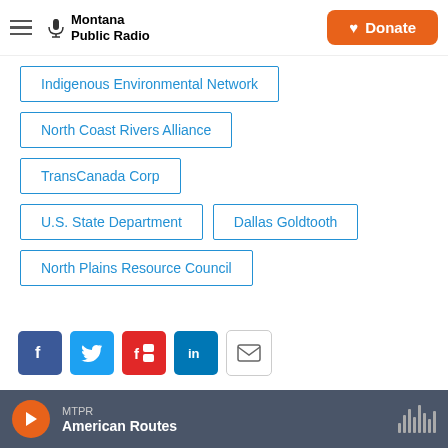Montana Public Radio | Donate
Indigenous Environmental Network
North Coast Rivers Alliance
TransCanada Corp
U.S. State Department
Dallas Goldtooth
North Plains Resource Council
[Figure (infographic): Social share buttons: Facebook, Twitter, Flipboard, LinkedIn, Email]
Corin Cates-Carney
MTPR American Routes